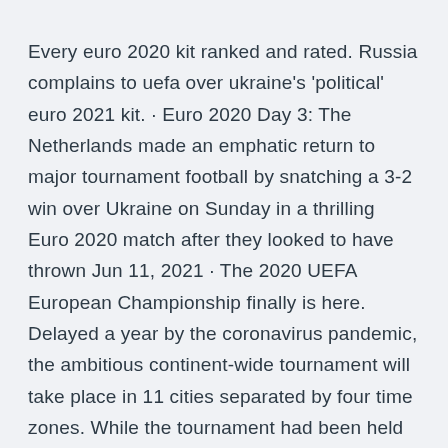Every euro 2020 kit ranked and rated. Russia complains to uefa over ukraine's 'political' euro 2021 kit. · Euro 2020 Day 3: The Netherlands made an emphatic return to major tournament football by snatching a 3-2 win over Ukraine on Sunday in a thrilling Euro 2020 match after they looked to have thrown Jun 11, 2021 · The 2020 UEFA European Championship finally is here. Delayed a year by the coronavirus pandemic, the ambitious continent-wide tournament will take place in 11 cities separated by four time zones. While the tournament had been held in multiple countries previously (2012 in Poland and Ukraine, 2008 in Group C of UEFA Euro 2020 is taking place from 13 to in Amsterdam's Johan Cruyff Arena and Bucharest's Arena Națională. The group contains host nation the